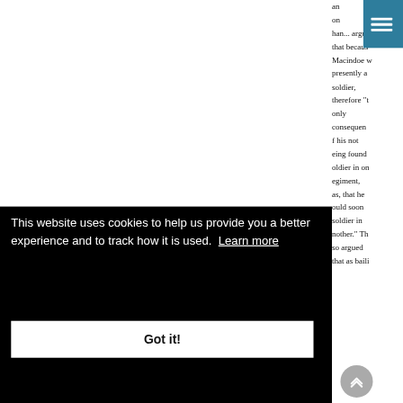an on ha... that becaus Macindoe w presently a soldier, therefore "t only consequen f his not eing found oldier in on egiment, as, that he ould soon soldier in nother." Th so argued that as baili
This website uses cookies to help us provide you a better experience and to track how it is used. Learn more
Got it!